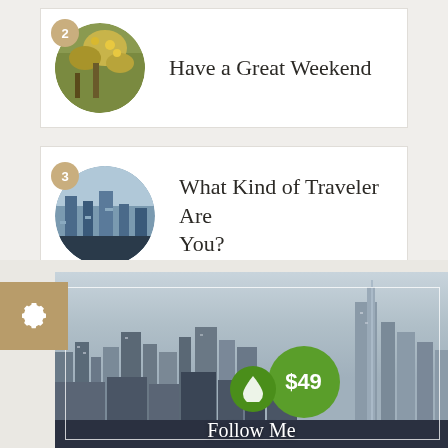[Figure (photo): Card with circular photo (flowers/garden) with badge number 2 and title text 'Have a Great Weekend']
Have a Great Weekend
[Figure (photo): Card with circular aerial city photo with badge number 3 and title text 'What Kind of Traveler Are You?']
What Kind of Traveler Are You?
[Figure (photo): New York City skyline photo with a green price bubble showing $49 and a 'Follow Me' text overlay, settings gear button on left]
Follow Me